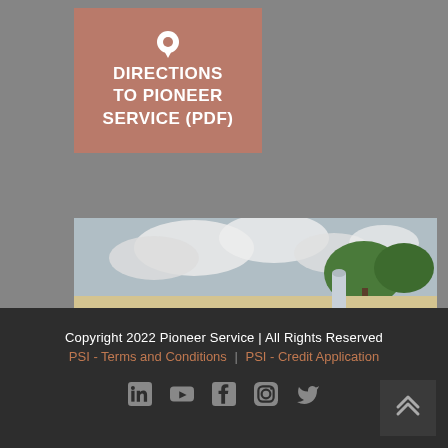DIRECTIONS TO PIONEER SERVICE (PDF)
[Figure (photo): Exterior photo of Pioneer Service building - a tan/yellow commercial building with garage doors and a blue entrance, trees visible behind, cloudy sky]
Copyright 2022 Pioneer Service | All Rights Reserved
PSI - Terms and Conditions | PSI - Credit Application